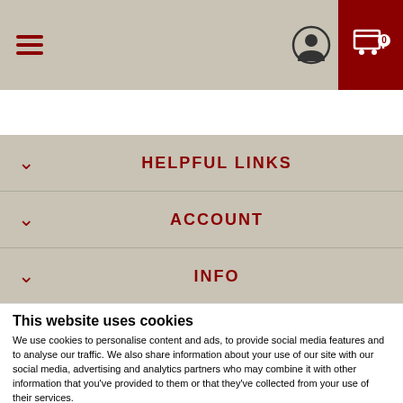[Figure (screenshot): Website navigation header bar with hamburger menu icon on left, user profile icon and shopping cart icon on right. Background is beige/tan color. Cart icon is on dark red background.]
HELPFUL LINKS
ACCOUNT
INFO
This website uses cookies
We use cookies to personalise content and ads, to provide social media features and to analyse our traffic. We also share information about your use of our site with our social media, advertising and analytics partners who may combine it with other information that you've provided to them or that they've collected from your use of their services.
OK
Show details